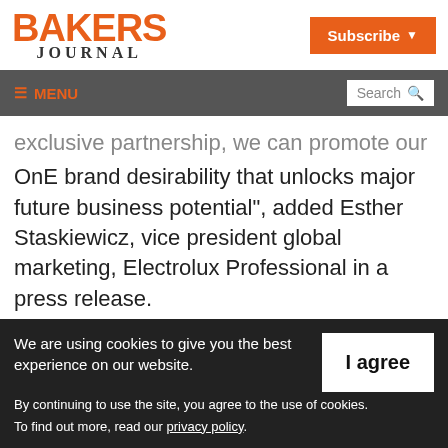BAKERS JOURNAL | Subscribe
≡ MENU | Search
exclusive partnership, we can promote our OnE brand desirability that unlocks major future business potential”, added Esther Staskiewicz, vice president global marketing, Electrolux Professional in a press release.
A natural continuation of the cooperation is
We are using cookies to give you the best experience on our website.
By continuing to use the site, you agree to the use of cookies.
To find out more, read our privacy policy.